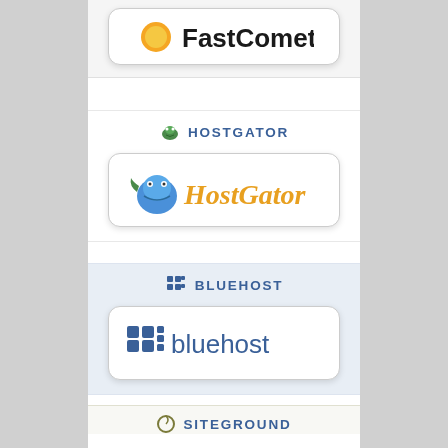[Figure (logo): FastComet logo card (partially visible at top)]
HOSTGATOR
[Figure (logo): HostGator logo with alligator mascot and orange italic text]
BLUEHOST
[Figure (logo): Bluehost logo with blue grid icon and blue text]
SITEGROUND
[Figure (logo): SiteGround logo with spiral icon and stylized text]
A2 HOSTING